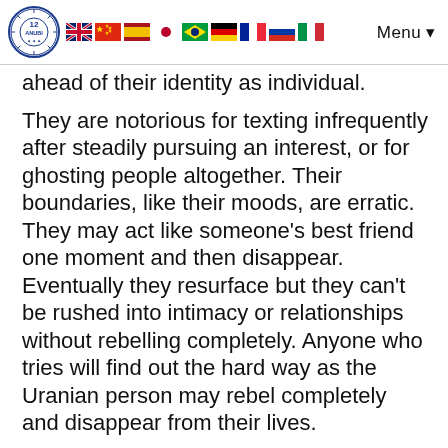[Logo] [Flags: UK, China, Spain, Japan, Brazil, Germany, France, Russia, Italy] Menu
ahead of their identity as individual.
They are notorious for texting infrequently after steadily pursuing an interest, or for ghosting people altogether. Their boundaries, like their moods, are erratic. They may act like someone's best friend one moment and then disappear. Eventually they resurface but they can't be rushed into intimacy or relationships without rebelling completely. Anyone who tries will find out the hard way as the Uranian person may rebel completely and disappear from their lives.
When in love, they are just as unorthodox as in other areas of life and may engage in over the top displays of affection, but they prefer to initiate